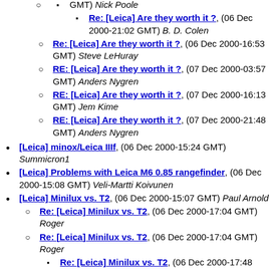(continued from above) GMT) Nick Poole
Re: [Leica] Are they worth it ?, (06 Dec 2000-21:02 GMT) B. D. Colen
Re: [Leica] Are they worth it ?, (06 Dec 2000-16:53 GMT) Steve LeHuray
RE: [Leica] Are they worth it ?, (07 Dec 2000-03:57 GMT) Anders Nygren
RE: [Leica] Are they worth it ?, (07 Dec 2000-16:13 GMT) Jem Kime
RE: [Leica] Are they worth it ?, (07 Dec 2000-21:48 GMT) Anders Nygren
[Leica] minox/Leica IIIf, (06 Dec 2000-15:24 GMT) Summicron1
[Leica] Problems with Leica M6 0.85 rangefinder, (06 Dec 2000-15:08 GMT) Veli-Martti Koivunen
[Leica] Minilux vs. T2, (06 Dec 2000-15:07 GMT) Paul Arnold
Re: [Leica] Minilux vs. T2, (06 Dec 2000-17:04 GMT) Roger
Re: [Leica] Minilux vs. T2, (06 Dec 2000-17:04 GMT) Roger
Re: [Leica] Minilux vs. T2, (06 Dec 2000-17:48 GMT) Tom Schofield
Re: [Leica] Minilux vs. T2, (06 Dec 2000-18:43 GMT) Roger